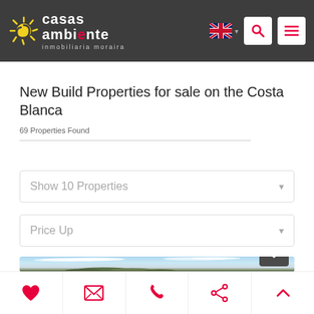[Figure (logo): Casas Ambiente Inmobiliaria Moraira logo with sun graphic on dark header bar]
New Build Properties for sale on the Costa Blanca
69 Properties Found
Show 10 Properties (dropdown)
Price Up (dropdown)
[Figure (photo): Partial property photo showing blue sky and treetops]
Bottom action bar with heart, email, phone, share, and up-arrow icons